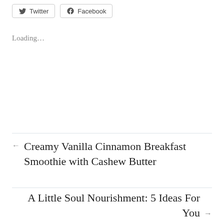[Figure (other): Twitter and Facebook social share buttons]
Loading…
← Creamy Vanilla Cinnamon Breakfast Smoothie with Cashew Butter
A Little Soul Nourishment: 5 Ideas For You →